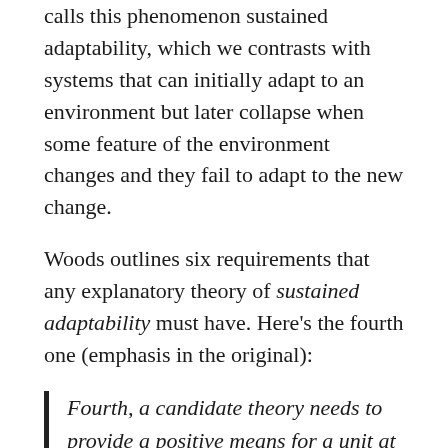calls this phenomenon sustained adaptability, which we contrasts with systems that can initially adapt to an environment but later collapse when some feature of the environment changes and they fail to adapt to the new change.
Woods outlines six requirements that any explanatory theory of sustained adaptability must have. Here's the fourth one (emphasis in the original):
Fourth, a candidate theory needs to provide a positive means for a unit at any scale to adjust how it adapts in the pursuit of improved fitness (how it is well matched to its environment), as changes and challenges continue apace. And this capability must be centered on the limits and perspective of that unit at that scale.